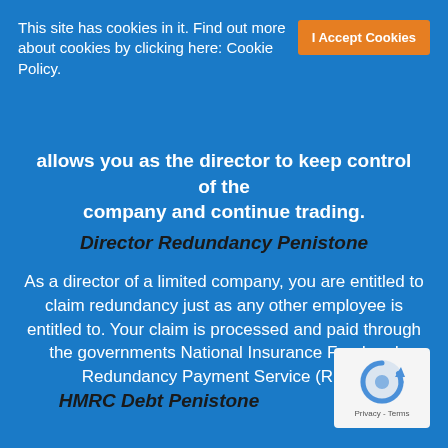This site has cookies in it. Find out more about cookies by clicking here: Cookie Policy.
I Accept Cookies
allows you as the director to keep control of the company and continue trading.
Director Redundancy Penistone
As a director of a limited company, you are entitled to claim redundancy just as any other employee is entitled to. Your claim is processed and paid through the governments National Insurance Fund and Redundancy Payment Service (RPS).
HMRC Debt Penistone
[Figure (logo): reCAPTCHA logo with Privacy - Terms text]